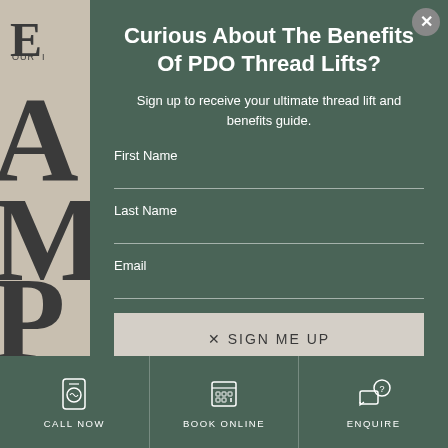Curious About The Benefits Of PDO Thread Lifts?
Sign up to receive your ultimate thread lift and benefits guide.
First Name
Last Name
Email
SIGN ME UP
CALL NOW
BOOK ONLINE
ENQUIRE